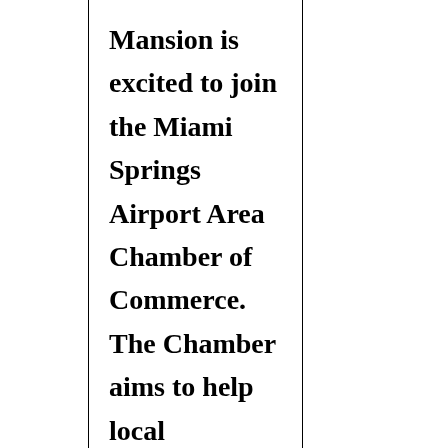Mansion is excited to join the Miami Springs Airport Area Chamber of Commerce. The Chamber aims to help local businesses and nonprofits to be successful